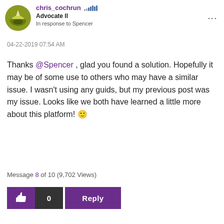[Figure (photo): Circular avatar with a green/yellow landscape/nature logo]
chris_cochrun  Advocate II
In response to Spencer
04-22-2019 07:54 AM
Thanks @Spencer , glad you found a solution. Hopefully it may be of some use to others who may have a similar issue. I wasn't using any guids, but my previous post was my issue. Looks like we both have learned a little more about this platform! 🙂
Message 8 of 10 (9,702 Views)